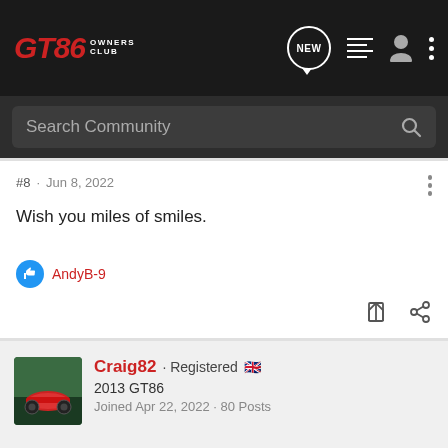[Figure (screenshot): GT86 Owners Club website navigation bar with logo, search bar, and icons]
#8 · Jun 8, 2022
Wish you miles of smiles.
AndyB-9
Craig82 · Registered
2013 GT86
Joined Apr 22, 2022 · 80 Posts